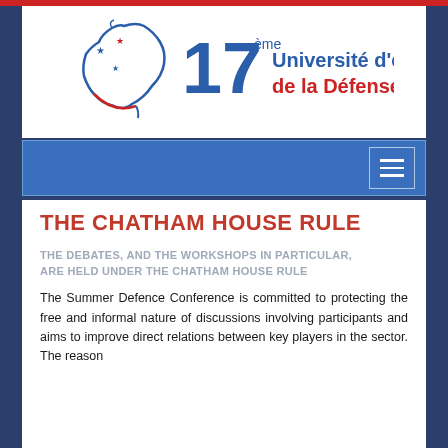[Figure (logo): 17ème Université d'été de la Défense logo with France map outline in blue and red with stars]
THE CHATHAM HOUSE RULE
THE DEBATES, AND THE WORKSHOPS IN PARTICULAR, ARE HELD UNDER THE CHATHAM HOUSE RULE
The Summer Defence Conference is committed to protecting the free and informal nature of discussions involving participants and aims to improve direct relations between key players in the sector. The reason